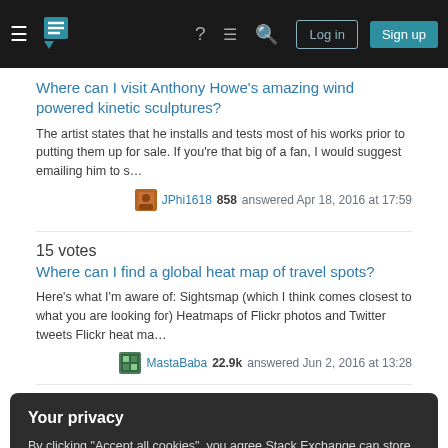Stack Exchange navigation bar with hamburger menu, logo, help, chat, search icons, Log in and Sign up buttons
Where can I visit Anthony Howe's amazing wind powered kinetic sculptures?
The artist states that he installs and tests most of his works prior to putting them up for sale. If you're that big of a fan, I would suggest emailing him to s…
JPhi1618 858 answered Apr 18, 2016 at 17:59
15 votes
Where can I find a global heat map of travel spots?
Here's what I'm aware of: Sightsmap (which I think comes closest to what you are looking for) Heatmaps of Flickr photos and Twitter tweets Flickr heat ma…
MastaBaba 22.9k answered Jun 2, 2016 at 13:28
Your privacy
By clicking "Accept all cookies", you agree Stack Exchange can store cookies on your device and disclose information in accordance with our Cookie Policy.
Accept all cookies
Customize settings